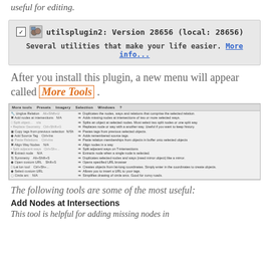useful for editing.
[Figure (screenshot): Plugin info box for utilsplugin2: Version 28656 (local: 28656) with checkbox, icon, and description 'Several utilities that make your life easier. More info...']
After you install this plugin, a new menu will appear called More Tools.
[Figure (screenshot): Screenshot of the More Tools menu showing items: Unglue Relation, Add nodes at intersections, Split object, Replace Geometry, Copy tags from previous selection, Add Source Tag, Paste Relations, Align Way Nodes, Split adjacent ways, Extract node, Symmetry, Open custom URL, Lat lon tool, Select customURL, Circle arc — each with keyboard shortcut and description arrow.]
The following tools are some of the most useful:
Add Nodes at Intersections
This tool is helpful for adding missing nodes in